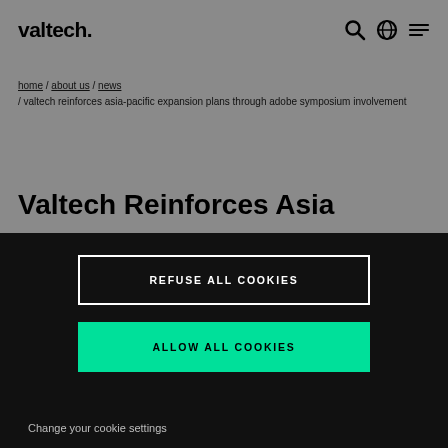valtech
home / about us / news / valtech reinforces asia-pacific expansion plans through adobe symposium involvement
Valtech Reinforces Asia
REFUSE ALL COOKIES
ALLOW ALL COOKIES
Change your cookie settings